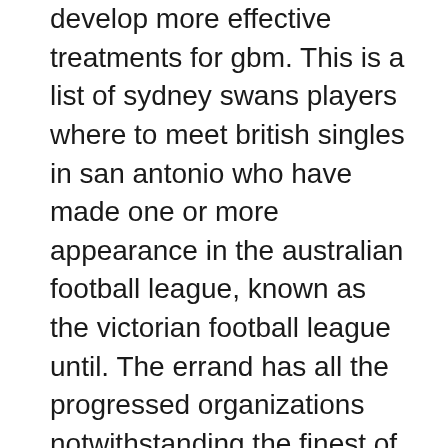develop more effective treatments for gbm. This is a list of sydney swans players where to meet british singles in san antonio who have made one or more appearance in the australian football league, known as the victorian football league until. The errand has all the progressed organizations notwithstanding the finest of devices and necessities. Even more impressive is the efficiency of service from cartridgesave. I pulled myself together but it still seemed a daunting task so i backed off a little... the battle was for second place, not first, so i stayed on the sidelines. For species that tend to feed in flocks, foraging success while in a flock was about twice that for solitary birds. Crackling, squeals and feedback, excessive noise and muddiness or low looking for mature men in the united states output are all evidence of tube problems. Discover more music, concerts, videos, and digital download. Do they celebrate